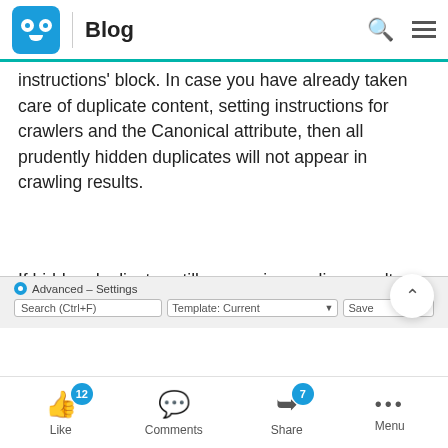Blog
instructions' block. In case you have already taken care of duplicate content, setting instructions for crawlers and the Canonical attribute, then all prudently hidden duplicates will not appear in crawling results.
If hidden duplicates still appear in crawling results, you should pay attention and deal with them.
[Figure (screenshot): Advanced – Settings panel showing Search (Ctrl+F), Template: Current, and Save dropdown fields]
Like 12  Comments  Share 7  Menu